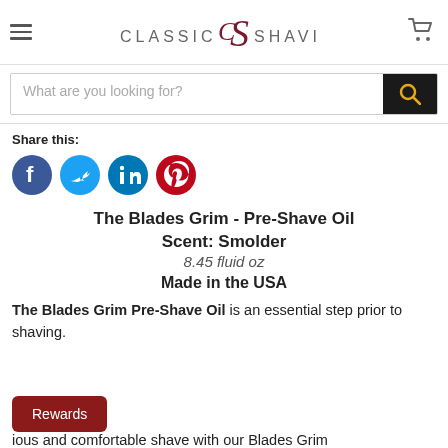[Figure (logo): Classic Shaving logo with stylized CS monogram in dark red]
What are you looking for?
Share this:
[Figure (infographic): Four social media icons: Facebook (blue), Twitter (light blue), LinkedIn (dark blue), Pinterest (red)]
The Blades Grim - Pre-Shave Oil
Scent: Smolder
8.45 fluid oz
Made in the USA
The Blades Grim Pre-Shave Oil is an essential step prior to shaving.
Rewards
ious and comfortable shave with our Blades Grim